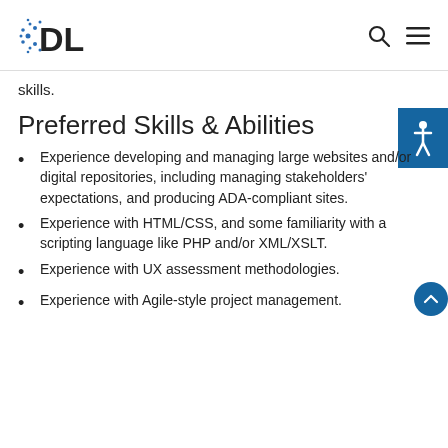DLF
skills.
Preferred Skills & Abilities
Experience developing and managing large websites and/or digital repositories, including managing stakeholders' expectations, and producing ADA-compliant sites.
Experience with HTML/CSS, and some familiarity with a scripting language like PHP and/or XML/XSLT.
Experience with UX assessment methodologies.
Experience with Agile-style project management.